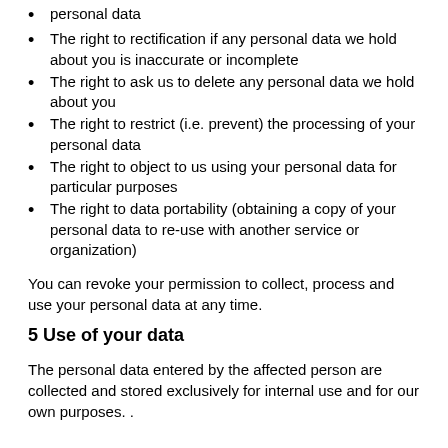personal data
The right to rectification if any personal data we hold about you is inaccurate or incomplete
The right to ask us to delete any personal data we hold about you
The right to restrict (i.e. prevent) the processing of your personal data
The right to object to us using your personal data for particular purposes
The right to data portability (obtaining a copy of your personal data to re-use with another service or organization)
You can revoke your permission to collect, process and use your personal data at any time.
5 Use of your data
The personal data entered by the affected person are collected and stored exclusively for internal use and for our own purposes. .